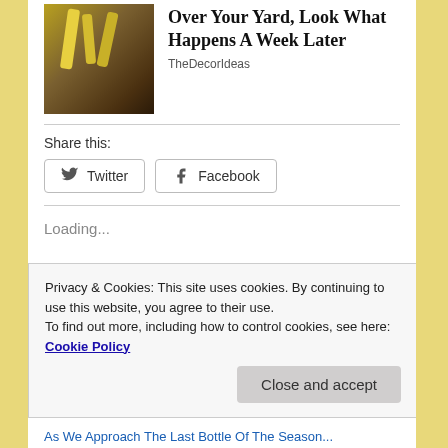[Figure (photo): Banana peels or yellow plant pieces stuck in garden soil]
Over Your Yard, Look What Happens A Week Later
TheDecorIdeas
Share this:
Twitter  Facebook
Loading...
Privacy & Cookies: This site uses cookies. By continuing to use this website, you agree to their use.
To find out more, including how to control cookies, see here: Cookie Policy
Close and accept
As We Approach The Last Bottle Of The Season...